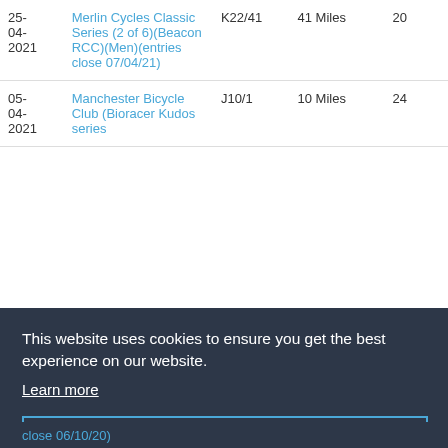| Date | Event | Course | Distance | Result |
| --- | --- | --- | --- | --- |
| 25-04-2021 | Merlin Cycles Classic Series (2 of 6)(Beacon RCC)(Men)(entries close 07/04/21) | K22/41 | 41 Miles | 20 |
| 05-04-2021 | Manchester Bicycle Club (Bioracer Kudos series | J10/1 | 10 Miles | 24 |
|  | (partial row visible) |  |  | DNS(A |
This website uses cookies to ensure you get the best experience on our website.
Learn more
Got it!
close 06/10/20)